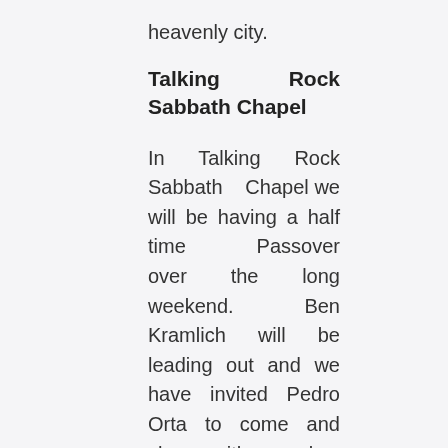heavenly city.
Talking Rock Sabbath Chapel
In Talking Rock Sabbath Chapel we will be having a half time Passover over the long weekend. Ben Kramlich will be leading out and we have invited Pedro Orta to come and share with us also. We pray the time of our brethren there will be greatly